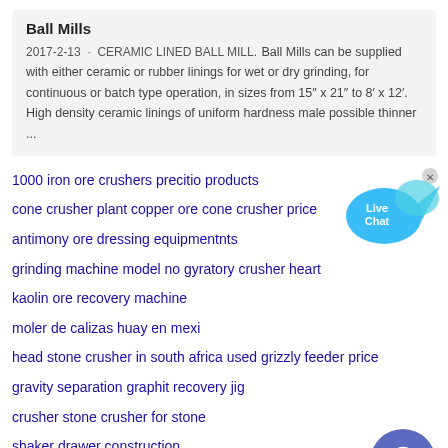Ball Mills
2017-2-13 · CERAMIC LINED BALL MILL. Ball Mills can be supplied with either ceramic or rubber linings for wet or dry grinding, for continuous or batch type operation, in sizes from 15" x 21" to 8' x 12'. High density ceramic linings of uniform hardness male possible thinner ...
1000 iron ore crushers precitio products
cone crusher plant copper ore cone crusher price
antimony ore dressing equipmentnts
grinding machine model no gyratory crusher heart
kaolin ore recovery machine
moler de calizas huay en mexi
head stone crusher in south africa used grizzly feeder price
gravity separation graphit recovery jig
crusher stone crusher for stone
shaker drawer construction
berapa biaya pabrik pengolahan pasir